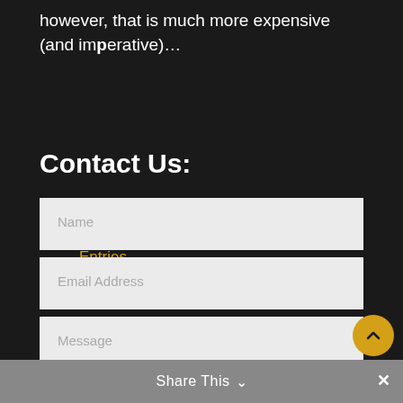however, that is much more expensive (and imperative)…
« Older Entries
Contact Us:
Name
Email Address
Message
Share This ∨